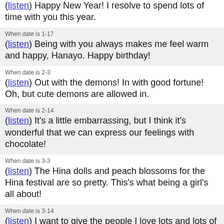(listen) Happy New Year! I resolve to spend lots of time with you this year.
When date is 1-17
(listen) Being with you always makes me feel warm and happy, Hanayo. Happy birthday!
When date is 2-3
(listen) Out with the demons! In with good fortune! Oh, but cute demons are allowed in.
When date is 2-14
(listen) It's a little embarrassing, but I think it's wonderful that we can express our feelings with chocolate!
When date is 3-3
(listen) The Hina dolls and peach blossoms for the Hina festival are so pretty. This's what being a girl's all about!
When date is 3-14
(listen) I want to give the people I love lots and lots of treats. Here, have some cake, open wide!
When date is 3-15
(listen) Getting to spend my days with you brings me so much joy. Umi, I'm sure things will only get better!